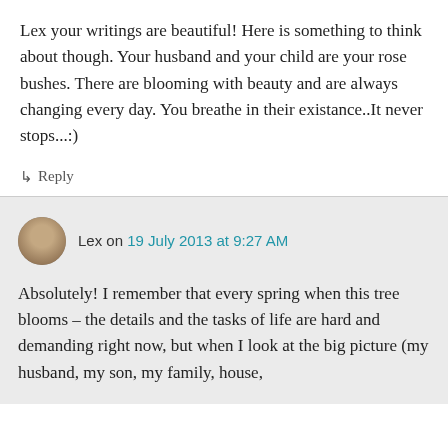Lex your writings are beautiful! Here is something to think about though. Your husband and your child are your rose bushes. There are blooming with beauty and are always changing every day. You breathe in their existance..It never stops...:)
↳ Reply
Lex on 19 July 2013 at 9:27 AM
Absolutely! I remember that every spring when this tree blooms – the details and the tasks of life are hard and demanding right now, but when I look at the big picture (my husband, my son, my family, house,